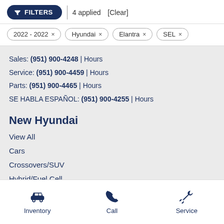FILTERS | 4 applied [Clear]
2022 - 2022 ×
Hyundai ×
Elantra ×
SEL ×
Sales: (951) 900-4248 | Hours
Service: (951) 900-4459 | Hours
Parts: (951) 900-4465 | Hours
SE HABLA ESPAÑOL: (951) 900-4255 | Hours
New Hyundai
View All
Cars
Crossovers/SUV
Hybrid/Fuel Cell
Inventory | Call | Service